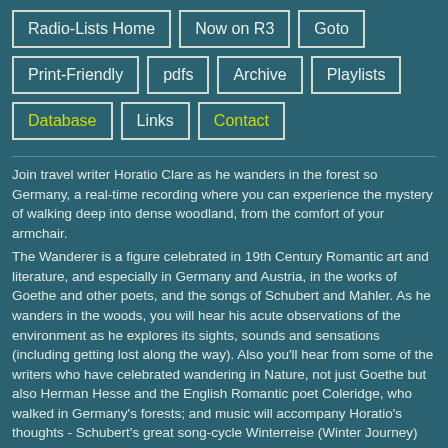Radio-Lists Home
Now on R3
Goto
Print-Friendly
pdfs
Archive
Playlists
Database
Links
Contact
Join travel writer Horatio Clare as he wanders in the forest so Germany, a real-time recording where you can experience the mystery of walking deep into dense woodland, from the comfort of your armchair. The Wanderer is a figure celebrated in 19th Century Romantic art and literature, and especially in Germany and Austria, in the works of Goethe and other poets, and the songs of Schubert and Mahler. As he wanders in the woods, you will hear his acute observations of the environment as he explores its sights, sounds and sensations (including getting lost along the way). Also you'll hear from some of the writers who have celebrated wandering in Nature, not just Goethe but also Herman Hesse and the English Romantic poet Coleridge, who walked in Germany's forests; and music will accompany Horatio's thoughts - Schubert's great song-cycle Winterreise (Winter Journey) will be heard along with other music, from the folk song Spenser the Rover...